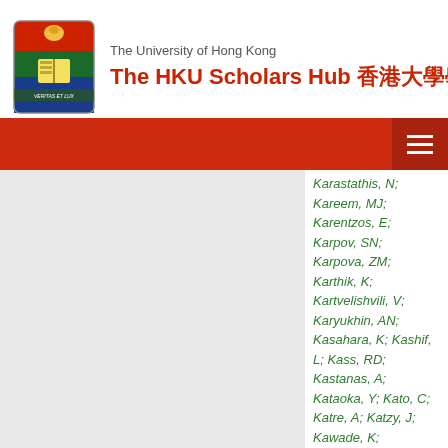The University of Hong Kong — The HKU Scholars Hub 香港大學學術庫
Karastathis, N;
Kareem, MJ;
Karentzos, E;
Karpov, SN;
Karpova, ZM;
Karthik, K;
Kartvelishvili, V;
Karyukhin, AN;
Kasahara, K; Kashif, L; Kass, RD;
Kastanas, A;
Kataoka, Y; Kato, C;
Katre, A; Katzy, J;
Kawade, K;
Kawagoe, K;
Kawamoto, T;
Kawamura, G; Kay, EE; Kazenin, VE;